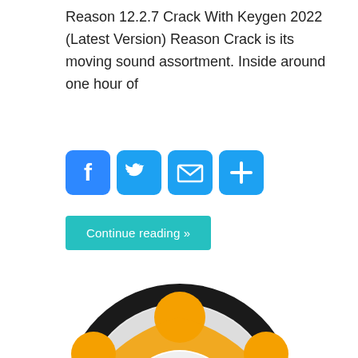Reason 12.2.7 Crack With Keygen 2022 (Latest Version) Reason Crack is its moving sound assortment. Inside around one hour of
[Figure (infographic): Social sharing buttons: Facebook (blue), Twitter (light blue), Email (light blue), Plus/Share (light blue)]
Continue reading »
[Figure (logo): Avast antivirus logo: orange shield/gear shape with dark blue 'a' letter in center circle, with 'avast!' text below in dark grey on metallic background]